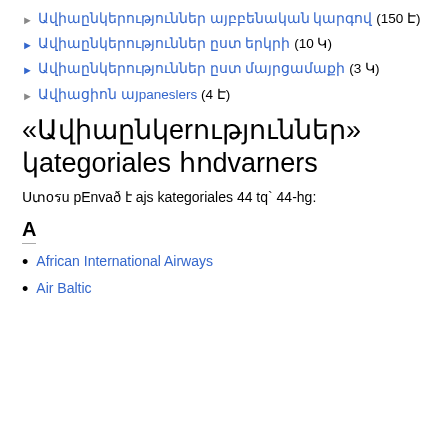Ավիաընկերություններ այբբենական կարգով (150 Է)
Ավիաընկերություններ ըստ երկրի (10 Կ)
Ավիաընկերություններ ըստ մայրցամաքի (3 Կ)
Ավիացիոն այպանaller (4 Է)
«Ավիաընկերություններ» կատեգորիայի հոդվածներ
Ստորև բերված է այս կատեգորիայի 44 էջ` 44-հց:
A
African International Airways
Air Baltic